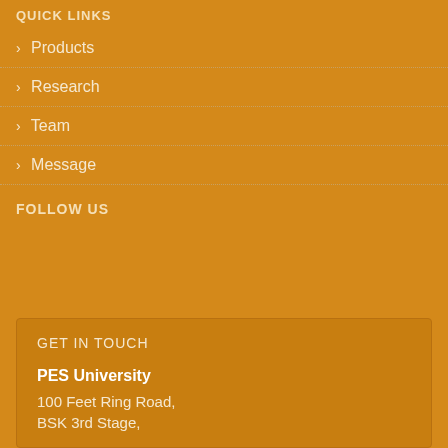QUICK LINKS
› Products
› Research
› Team
› Message
FOLLOW US
GET IN TOUCH
PES University
100 Feet Ring Road,
BSK 3rd Stage,